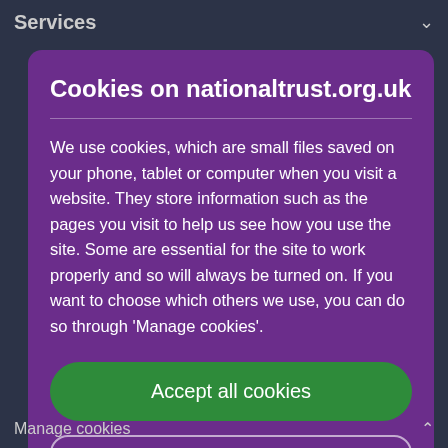Services
Cookies on nationaltrust.org.uk
We use cookies, which are small files saved on your phone, tablet or computer when you visit a website. They store information such as the pages you visit to help us see how you use the site. Some are essential for the site to work properly and so will always be turned on. If you want to choose which others we use, you can do so through 'Manage cookies'.
Accept all cookies
Manage cookies